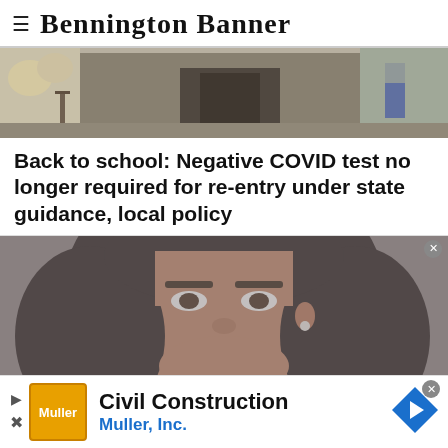≡ Bennington Banner
[Figure (photo): Outdoor street scene photo showing a building exterior with people walking, sunlit environment]
Back to school: Negative COVID test no longer required for re-entry under state guidance, local policy
[Figure (photo): Headshot portrait of a smiling young woman with long dark hair against a gray background]
Civil Construction
Muller, Inc.